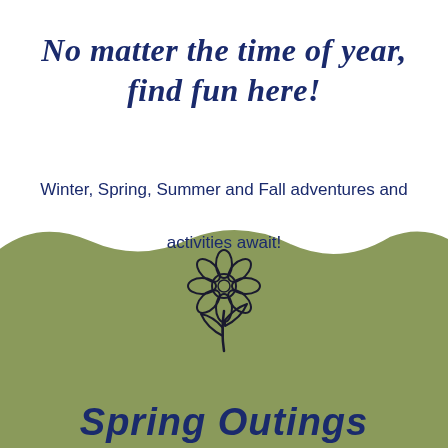No matter the time of year, find fun here!
Winter, Spring, Summer and Fall adventures and activities await!
[Figure (illustration): Line drawing of a daisy flower with stem and two leaves on an olive green background]
Spring Outings